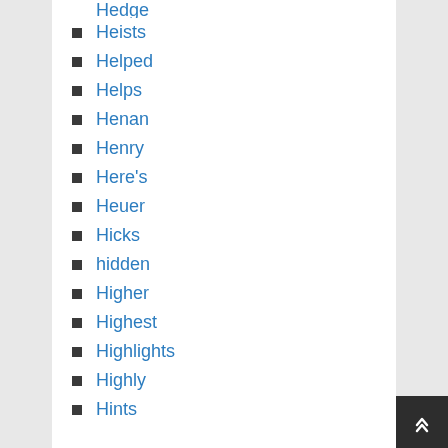Hedge
Heists
Helped
Helps
Henan
Henry
Here's
Heuer
Hicks
hidden
Higher
Highest
Highlights
Highly
Hints